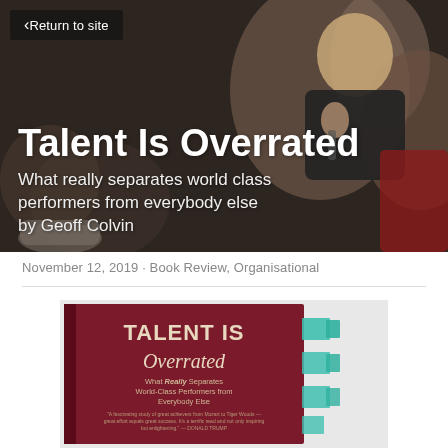Return to site
Talent Is Overrated
What really separates world class performers from everybody else by Geoff Colvin
November 12, 2019 · Book Review, Organisational
[Figure (photo): Photo of the book 'Talent Is Overrated' by Geoff Colvin, showing the book cover which reads: TALENT IS Overrated - What Really Separates World-Class Performers from Everybody Else. With a quote from Donald Trump at the bottom.]